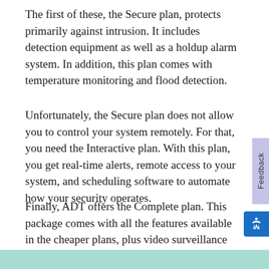The first of these, the Secure plan, protects primarily against intrusion. It includes detection equipment as well as a holdup alarm system. In addition, this plan comes with temperature monitoring and flood detection.
Unfortunately, the Secure plan does not allow you to control your system remotely. For that, you need the Interactive plan. With this plan, you get real-time alerts, remote access to your system, and scheduling software to automate how your security operates.
Finally, ADT offers the Complete plan. This package comes with all the features available in the cheaper plans, plus video surveillance service.